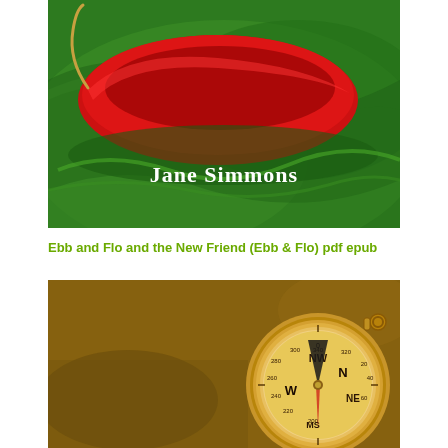[Figure (illustration): Book cover illustration showing a red boat on swirling green water/grass, with the author name 'Jane Simmons' in white serif text overlaid on the lower portion of the cover]
Ebb and Flo and the New Friend (Ebb & Flo) pdf epub
[Figure (photo): Close-up photograph of a vintage brass compass with NW, N, NE, W markings visible, placed on a sandy/earthy brown background]